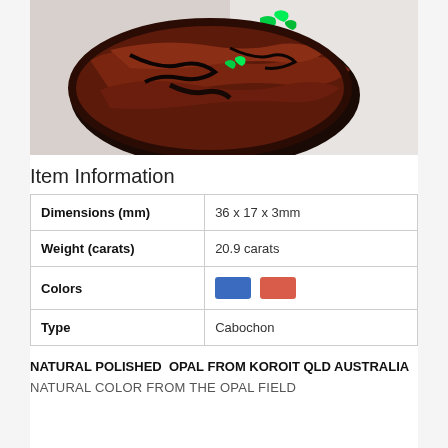[Figure (photo): Close-up photo of a natural polished boulder opal from Koroit QLD Australia. The stone is dark reddish-brown with green iridescent color play visible on the surface. Set against a light grey/white background.]
Item Information
| Dimensions (mm) | 36 x 17 x 3mm |
| Weight (carats) | 20.9 carats |
| Colors | [blue swatch] [red swatch] |
| Type | Cabochon |
NATURAL POLISHED  OPAL FROM KOROIT QLD AUSTRALIA
NATURAL COLOR FROM THE OPAL FIELD